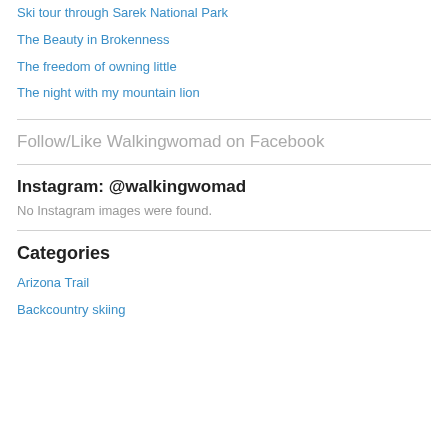Ski tour through Sarek National Park
The Beauty in Brokenness
The freedom of owning little
The night with my mountain lion
Follow/Like Walkingwomad on Facebook
Instagram: @walkingwomad
No Instagram images were found.
Categories
Arizona Trail
Backcountry skiing